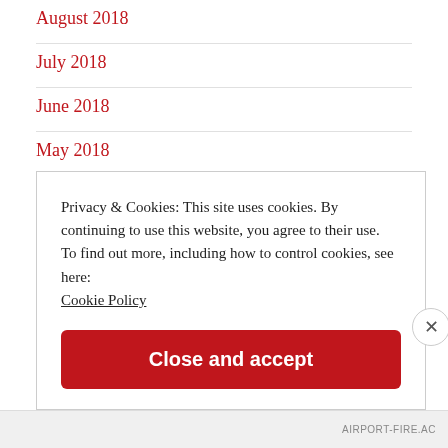August 2018
July 2018
June 2018
May 2018
April 2018
March 2018
Privacy & Cookies: This site uses cookies. By continuing to use this website, you agree to their use.
To find out more, including how to control cookies, see here:
Cookie Policy
Close and accept
AIRPORT-FIRE.AC